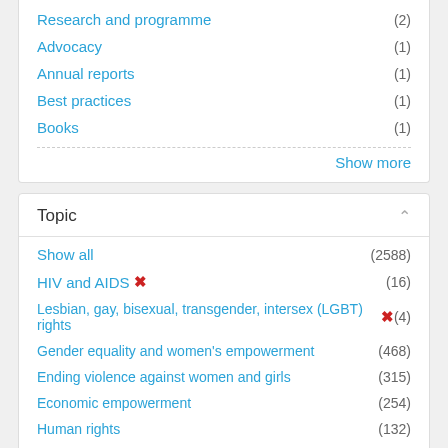Research and programme (2)
Advocacy (1)
Annual reports (1)
Best practices (1)
Books (1)
Show more
Topic
Show all (2588)
HIV and AIDS ✕ (16)
Lesbian, gay, bisexual, transgender, intersex (LGBT) rights ✕ (4)
Gender equality and women's empowerment (468)
Ending violence against women and girls (315)
Economic empowerment (254)
Human rights (132)
COVID-19 (124)
Peace and security (117)